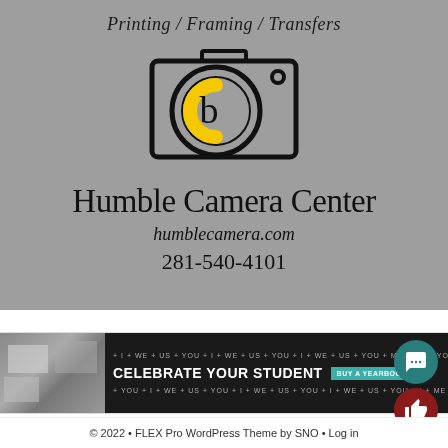[Figure (logo): Humble Camera Center advertisement. Gray background with camera logo containing a yellow 'C' arc and 'b' letterform. Text: Printing / Framing / Transfers, Humble Camera Center, humblecamera.com, 281-540-4101]
[Figure (infographic): Yearbook advertisement banner with dark background, photo collage on left, text 'CELEBRATE YOUR STUDENT' in white bold, teal button 'BUY A YEARBOOK AD', repeating ticker text with 'I + WE + US + YOU']
© 2022 • FLEX Pro WordPress Theme by SNO • Log in